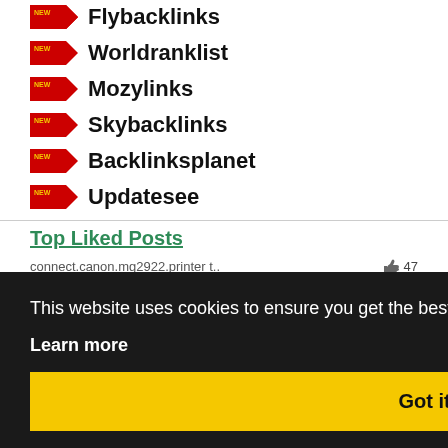Flybacklinks
Worldranklist
Mozylinks
Skybacklinks
Backlinksplanet
Updatesee
Top Liked Posts
connect.canon.mg2922.printer t... 47
Brother printer installation... 47
Brother Printer Support... 46
HP Envy 5000 printer offline.. 44
This website uses cookies to ensure you get the best experience on our website.
Learn more
Got it!